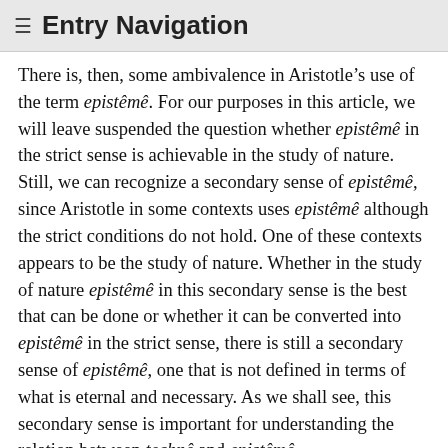≡ Entry Navigation
There is, then, some ambivalence in Aristotle's use of the term epistêmê. For our purposes in this article, we will leave suspended the question whether epistêmê in the strict sense is achievable in the study of nature. Still, we can recognize a secondary sense of epistêmê, since Aristotle in some contexts uses epistêmê although the strict conditions do not hold. One of these contexts appears to be the study of nature. Whether in the study of nature epistêmê in this secondary sense is the best that can be done or whether it can be converted into epistêmê in the strict sense, there is still a secondary sense of epistêmê, one that is not defined in terms of what is eternal and necessary. As we shall see, this secondary sense is important for understanding the relation between technê and epistêmê.
Now that we have traced Aristotle's way of distinguishing craft from scientific knowledge and from virtue, we can focus on craft as productive. As we have just seen, craft produces something by way of true reasoning. Aristotle also has us see that the object of this practical...